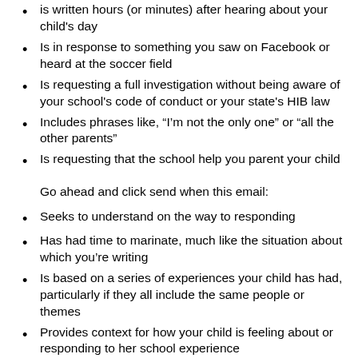is written hours (or minutes) after hearing about your child's day
Is in response to something you saw on Facebook or heard at the soccer field
Is requesting a full investigation without being aware of your school's code of conduct or your state's HIB law
Includes phrases like, “I’m not the only one” or “all the other parents”
Is requesting that the school help you parent your child
Go ahead and click send when this email:
Seeks to understand on the way to responding
Has had time to marinate, much like the situation about which you’re writing
Is based on a series of experiences your child has had, particularly if they all include the same people or themes
Provides context for how your child is feeling about or responding to her school experience